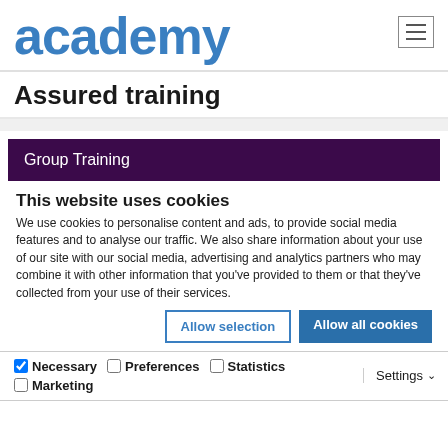academy
Assured training
Group Training
This website uses cookies
We use cookies to personalise content and ads, to provide social media features and to analyse our traffic. We also share information about your use of our site with our social media, advertising and analytics partners who may combine it with other information that you've provided to them or that they've collected from your use of their services.
Allow selection | Allow all cookies
Necessary (checked) | Preferences | Statistics | Marketing | Settings